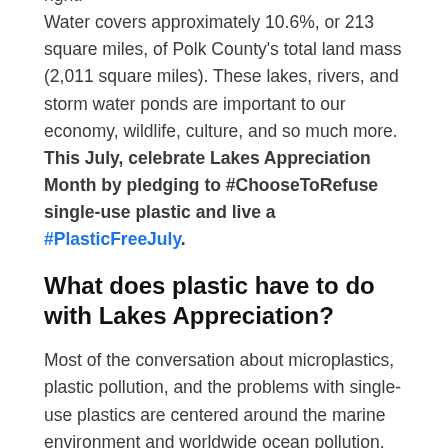right. Water covers approximately 10.6%, or 213 square miles, of Polk County's total land mass (2,011 square miles). These lakes, rivers, and storm water ponds are important to our economy, wildlife, culture, and so much more. This July, celebrate Lakes Appreciation Month by pledging to #ChooseToRefuse single-use plastic and live a #PlasticFreeJuly.
What does plastic have to do with Lakes Appreciation?
Most of the conversation about microplastics, plastic pollution, and the problems with single-use plastics are centered around the marine environment and worldwide ocean pollution. Unfortunately, the issue is not